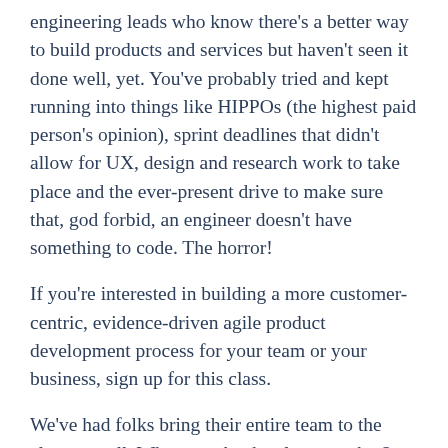engineering leads who know there's a better way to build products and services but haven't seen it done well, yet. You've probably tried and kept running into things like HIPPOs (the highest paid person's opinion), sprint deadlines that didn't allow for UX, design and research work to take place and the ever-present drive to make sure that, god forbid, an engineer doesn't have something to code. The horror!
If you're interested in building a more customer-centric, evidence-driven agile product development process for your team or your business, sign up for this class.
We've had folks bring their entire team to the class as well. Why not take the class together? We'll even give you a group discount. Just ask.